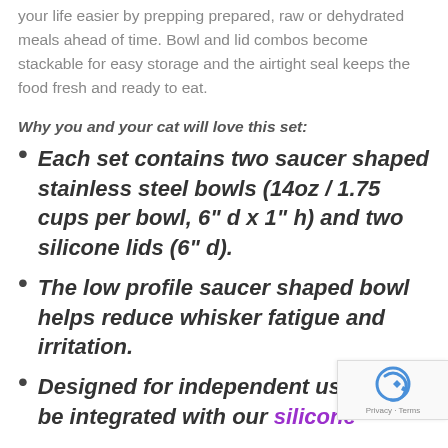your life easier by prepping prepared, raw or dehydrated meals ahead of time. Bowl and lid combos become stackable for easy storage and the airtight seal keeps the food fresh and ready to eat.
Why you and your cat will love this set:
Each set contains two saucer shaped stainless steel bowls (14oz / 1.75 cups per bowl, 6" d x 1" h) and two silicone lids (6" d).
The low profile saucer shaped bowl helps reduce whisker fatigue and irritation.
Designed for independent use or be integrated with our silicone